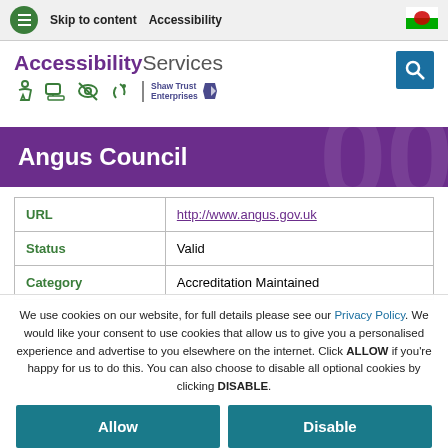Skip to content   Accessibility
[Figure (logo): AccessibilityServices logo with accessibility icons and Shaw Trust Enterprises branding]
Angus Council
| URL | http://www.angus.gov.uk |
| Status | Valid |
| Category | Accreditation Maintained |
We use cookies on our website, for full details please see our Privacy Policy. We would like your consent to use cookies that allow us to give you a personalised experience and advertise to you elsewhere on the internet. Click ALLOW if you're happy for us to do this. You can also choose to disable all optional cookies by clicking DISABLE.